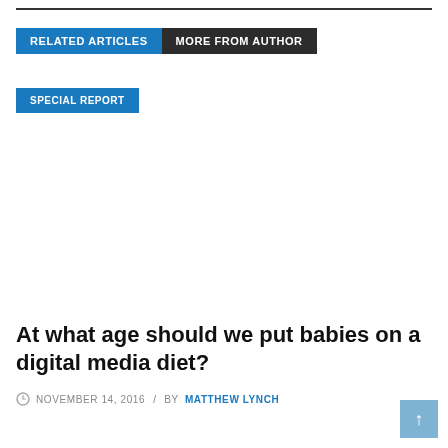RELATED ARTICLES   MORE FROM AUTHOR
SPECIAL REPORT
At what age should we put babies on a digital media diet?
NOVEMBER 14, 2016 / BY MATTHEW LYNCH